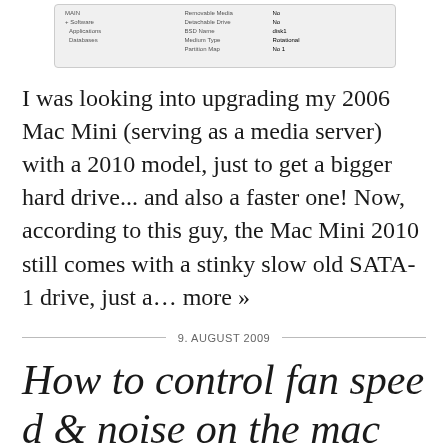[Figure (screenshot): Screenshot of a system information panel showing disk/drive details including Removable Media: No, Detachable Drive: No, BSD Name: disk1, Medium Type: Rotational, and other fields]
I was looking into upgrading my 2006 Mac Mini (serving as a media server) with a 2010 model, just to get a bigger hard drive... and also a faster one! Now, according to this guy, the Mac Mini 2010 still comes with a stinky slow old SATA-1 drive, just a… more »
9. AUGUST 2009
How to control fan speed & noise on the mac pr